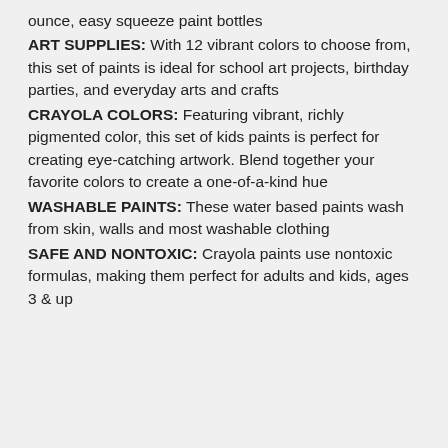ounce, easy squeeze paint bottles
ART SUPPLIES: With 12 vibrant colors to choose from, this set of paints is ideal for school art projects, birthday parties, and everyday arts and crafts
CRAYOLA COLORS: Featuring vibrant, richly pigmented color, this set of kids paints is perfect for creating eye-catching artwork. Blend together your favorite colors to create a one-of-a-kind hue
WASHABLE PAINTS: These water based paints wash from skin, walls and most washable clothing
SAFE AND NONTOXIC: Crayola paints use nontoxic formulas, making them perfect for adults and kids, ages 3 & up